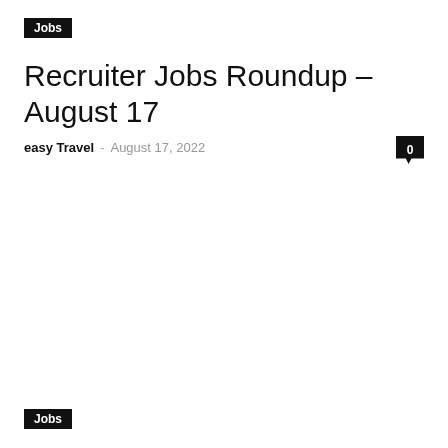Jobs
Recruiter Jobs Roundup – August 17
easy Travel · August 17, 2022
Jobs
The Labor Shortage: APIs To The Rescue
easy Travel · August 17, 2022